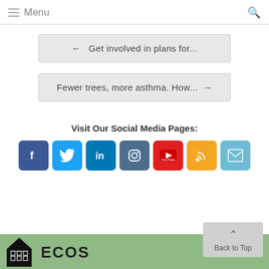Menu
← Get involved in plans for...
Fewer trees, more asthma. How... →
Visit Our Social Media Pages:
[Figure (infographic): Row of 7 social media icon buttons: Facebook (blue), Twitter (light blue), LinkedIn (dark blue), Instagram (slate blue), YouTube (red), RSS (orange), Email (teal)]
[Figure (logo): ECOS logo with house icon and text ECOS]
Back to Top